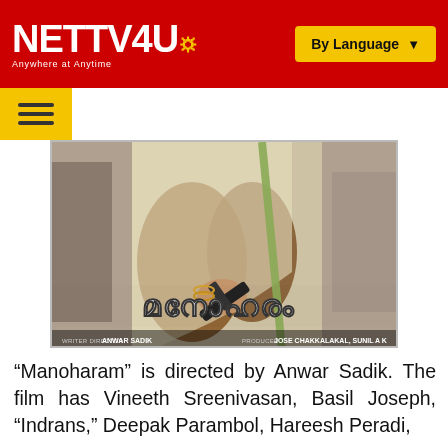NETTV4U — Anywhere at Anytime | By Language
[Figure (photo): Movie poster for 'Manoharam' (Malayalam text) showing a woman in traditional dress holding a gun. Credits: Writer Director Anwar Sadik, Producer Jose Chakkalakal, Sunil A K]
“Manoharam” is directed by Anwar Sadik. The film has Vineeth Sreenivasan, Basil Joseph, “Indrans,” Deepak Parambol, Hareesh Peradi,